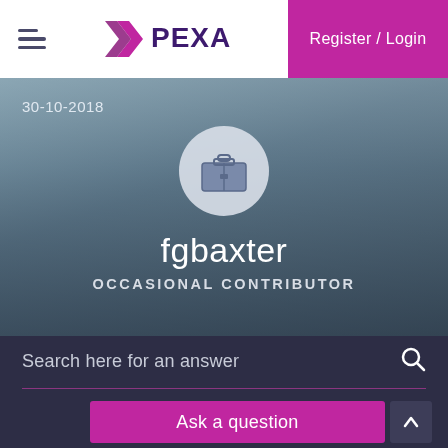[Figure (logo): PEXA logo with X mark in purple/magenta]
Register / Login
30-10-2018
[Figure (illustration): User avatar circle with briefcase icon]
fgbaxter
OCCASIONAL CONTRIBUTOR
Search here for an answer
Ask a question